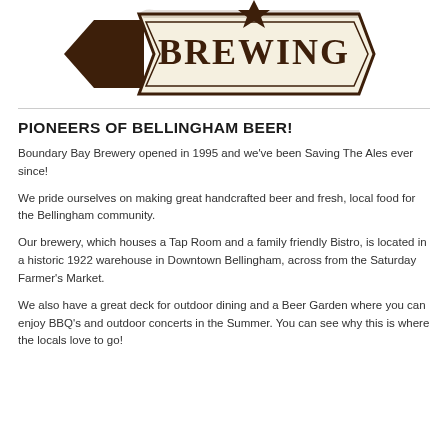[Figure (logo): Partial brewery logo showing 'BREWING' text on a banner/pennant shape with brown and cream colors]
PIONEERS OF BELLINGHAM BEER!
Boundary Bay Brewery opened in 1995 and we've been Saving The Ales ever since!
We pride ourselves on making great handcrafted beer and fresh, local food for the Bellingham community.
Our brewery, which houses a Tap Room and a family friendly Bistro, is located in a historic 1922 warehouse in Downtown Bellingham, across from the Saturday Farmer's Market.
We also have a great deck for outdoor dining and a Beer Garden where you can enjoy BBQ's and outdoor concerts in the Summer. You can see why this is where the locals love to go!